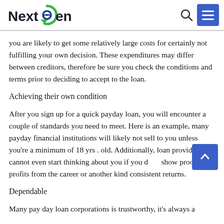NextGen [logo] [search icon] [menu icon]
you are likely to get some relatively large costs for certainly not fulfilling your own decision. These expenditures may differ between creditors, therefore be sure you check the conditions and terms prior to deciding to accept to the loan.
Achieving their own condition
After you sign up for a quick payday loan, you will encounter a couple of standards you need to meet. Here is an example, many payday financial institutions will likely not sell to you unless you’re a minimum of 18 yrs . old. Additionally, loan providers cannot even start thinking about you if you d[on't] show proof of profits from the career or another kind [of] consistent returns.
Dependable
Many pay day loan corporations is trustworthy, it’s always a